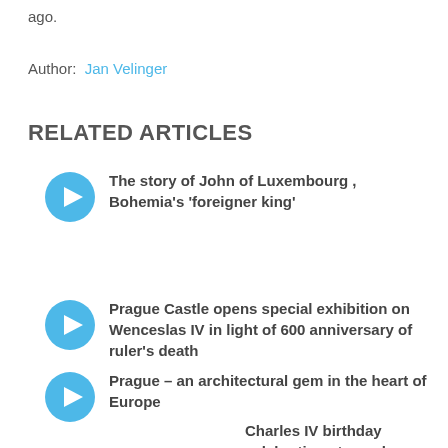ago.
Author: Jan Velinger
RELATED ARTICLES
The story of John of Luxembourg , Bohemia's 'foreigner king'
Prague Castle opens special exhibition on Wenceslas IV in light of 600 anniversary of ruler's death
Prague – an architectural gem in the heart of Europe
Charles IV birthday celebrations to peak